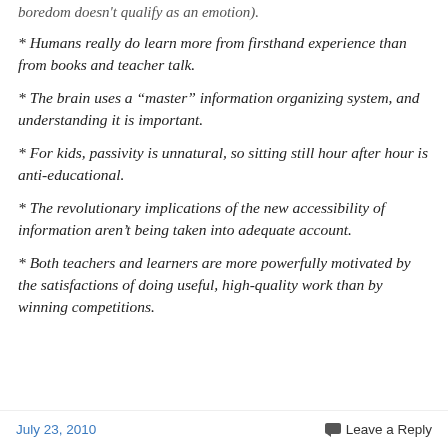boredom doesn't qualify as an emotion).
* Humans really do learn more from firsthand experience than from books and teacher talk.
* The brain uses a “master” information organizing system, and understanding it is important.
* For kids, passivity is unnatural, so sitting still hour after hour is anti-educational.
* The revolutionary implications of the new accessibility of information aren’t being taken into adequate account.
* Both teachers and learners are more powerfully motivated by the satisfactions of doing useful, high-quality work than by winning competitions.
July 23, 2010   Leave a Reply